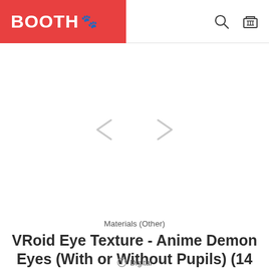BOOTH
[Figure (other): Product image carousel area with left and right chevron navigation arrows on white background]
Materials (Other)
VRoid Eye Texture - Anime Demon Eyes (With or Without Pupils) (14 Colors)
Digital